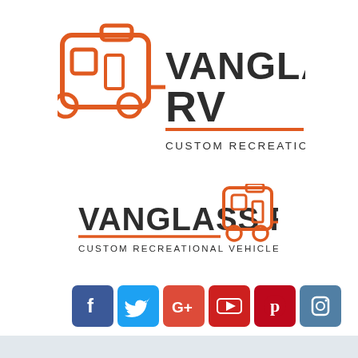[Figure (logo): Vanglass RV logo with RV/camper icon in orange and dark text reading VANGLASS RV CUSTOM RECREATIONAL VEHICLES]
[Figure (logo): Vanglass RV alternate logo with smaller text and orange RV icon on right side]
[Figure (infographic): Row of 6 social media icons: Facebook (blue), Twitter (light blue), Google+ (red), YouTube (red), Pinterest (dark red), Instagram (grey-blue)]
[Figure (infographic): Facebook icon (large, blue square) and Google Maps pin icon (white background with red pin)]
[Figure (infographic): Hamburger menu icon (three horizontal dark lines)]